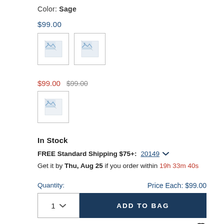Color: Sage
$99.00
[Figure (photo): Two product color swatch images (broken image placeholders)]
$99.00  $99.00
[Figure (photo): One product color swatch image (broken image placeholder)]
In Stock
FREE Standard Shipping $75+: 20149 ∨
Get it by Thu, Aug 25 if you order within 19h 33m 40s
Quantity:
Price Each: $99.00
ADD TO BAG
Free Shipping & 90 Day Returns